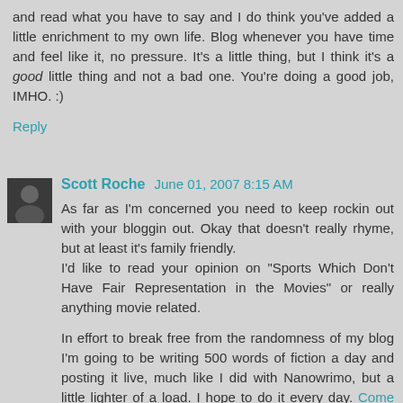and read what you have to say and I do think you've added a little enrichment to my own life. Blog whenever you have time and feel like it, no pressure. It's a little thing, but I think it's a good little thing and not a bad one. You're doing a good job, IMHO. :)
Reply
Scott Roche  June 01, 2007 8:15 AM
As far as I'm concerned you need to keep rockin out with your bloggin out. Okay that doesn't really rhyme, but at least it's family friendly.
I'd like to read your opinion on "Sports Which Don't Have Fair Representation in the Movies" or really anything movie related.
In effort to break free from the randomness of my blog I'm going to be writing 500 words of fiction a day and posting it live, much like I did with Nanowrimo, but a little lighter of a load. I hope to do it every day. Come check it out!
Reply